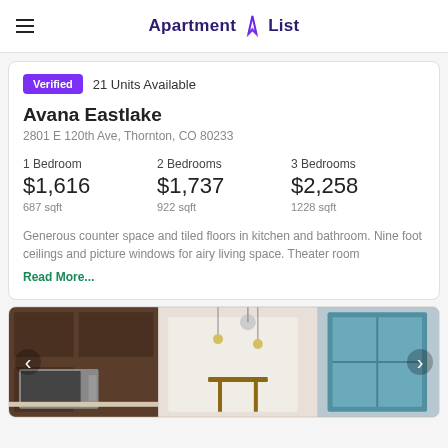Apartment List
Verified  21 Units Available
Avana Eastlake
2801 E 120th Ave, Thornton, CO 80233
| 1 Bedroom | 2 Bedrooms | 3 Bedrooms |
| --- | --- | --- |
| $1,616 | $1,737 | $2,258 |
| 687 sqft | 922 sqft | 1228 sqft |
Generous counter space and tiled floors in kitchen and bathroom. Nine foot ceilings and picture windows for airy living space. Theater room Read More...
[Figure (photo): Interior photo of apartment kitchen and living area showing dark wood cabinets, stainless steel microwave, pendant lighting, and dining area]